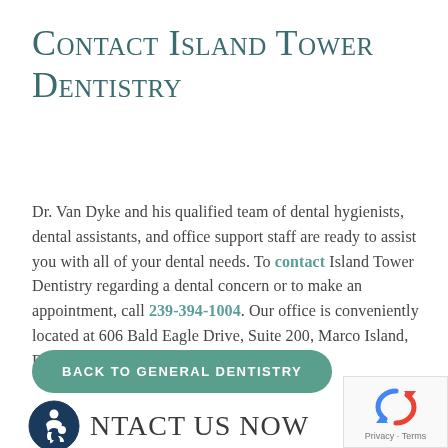Contact Island Tower Dentistry
Dr. Van Dyke and his qualified team of dental hygienists, dental assistants, and office support staff are ready to assist you with all of your dental needs. To contact Island Tower Dentistry regarding a dental concern or to make an appointment, call 239-394-1004. Our office is conveniently located at 606 Bald Eagle Drive, Suite 200, Marco Island, Florida 34145.
BACK TO GENERAL DENTISTRY
CONTACT US NOW